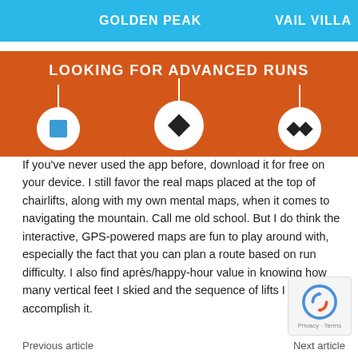[Figure (screenshot): App screenshot showing a blue tab bar with 'GOLDEN PEAK' and 'VAIL VILLA' tabs, followed by an orange section titled 'LOOKING FOR ADVANCED RUNS' with ski trail difficulty icons (blue square, black diamond, double black diamond) on white circles connected by lines]
If you've never used the app before, download it for free on your device. I still favor the real maps placed at the top of chairlifts, along with my own mental maps, when it comes to navigating the mountain. Call me old school. But I do think the interactive, GPS-powered maps are fun to play around with, especially the fact that you can plan a route based on run difficulty. I also find après/happy-hour value in knowing how many vertical feet I skied and the sequence of lifts I took to accomplish it.
Previous article
Next article